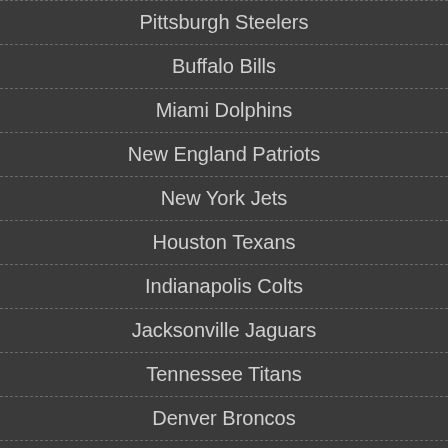Pittsburgh Steelers
Buffalo Bills
Miami Dolphins
New England Patriots
New York Jets
Houston Texans
Indianapolis Colts
Jacksonville Jaguars
Tennessee Titans
Denver Broncos
Kansas City Chiefs
Oakland Raiders
San Diego Chargers